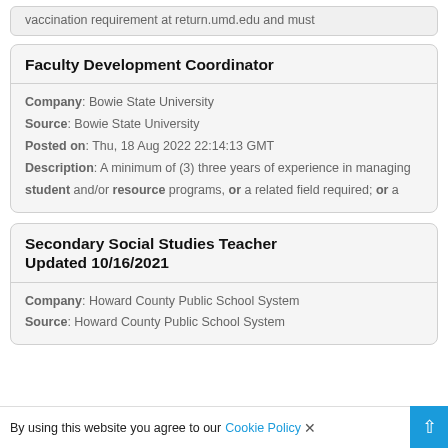vaccination requirement at return.umd.edu and must
Faculty Development Coordinator
Company: Bowie State University
Source: Bowie State University
Posted on: Thu, 18 Aug 2022 22:14:13 GMT
Description: A minimum of (3) three years of experience in managing student and/or resource programs, or a related field required; or a
Secondary Social Studies Teacher Updated 10/16/2021
Company: Howard County Public School System
Source: Howard County Public School System
By using this website you agree to our Cookie Policy ×